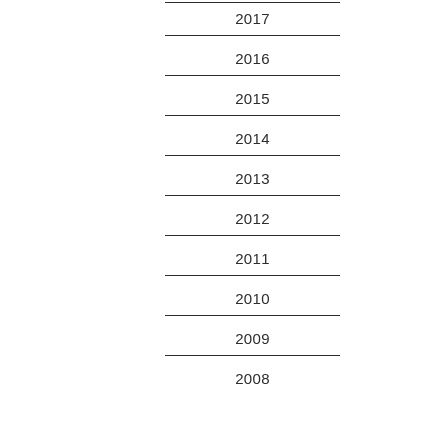2017
2016
2015
2014
2013
2012
2011
2010
2009
2008